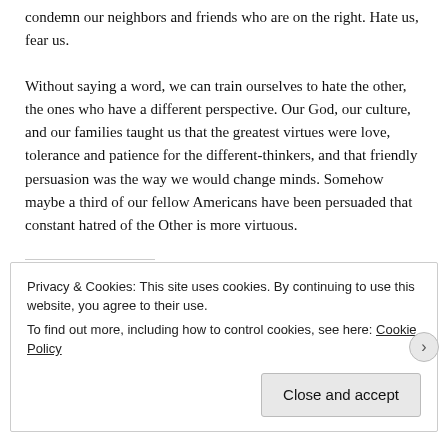condemn our neighbors and friends who are on the right. Hate us, fear us.
Without saying a word, we can train ourselves to hate the other, the ones who have a different perspective. Our God, our culture, and our families taught us that the greatest virtues were love, tolerance and patience for the different-thinkers, and that friendly persuasion was the way we would change minds. Somehow maybe a third of our fellow Americans have been persuaded that constant hatred of the Other is more virtuous.
Privacy & Cookies: This site uses cookies. By continuing to use this website, you agree to their use.
To find out more, including how to control cookies, see here: Cookie Policy
Close and accept